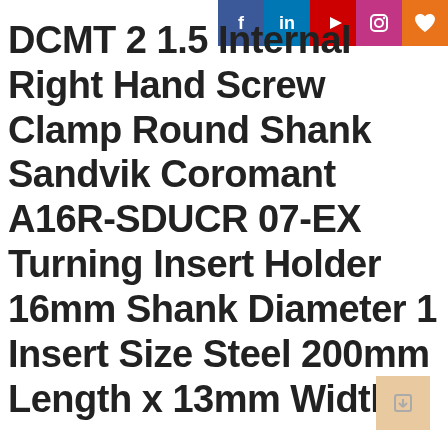[Figure (infographic): Social media share icons row: Facebook (blue), LinkedIn (blue), YouTube (red), Instagram (pink/magenta), Heart/favorite (orange). Positioned top-right corner.]
DCMT 2 1.5 Internal Right Hand Screw Clamp Round Shank Sandvik Coromant A16R-SDUCR 07-EX Turning Insert Holder 16mm Shank Diameter 1 Insert Size Steel 200mm Length x 13mm Width
[Figure (other): Scroll or navigate button, peach/tan square with a small arrow or page icon, bottom-right corner.]